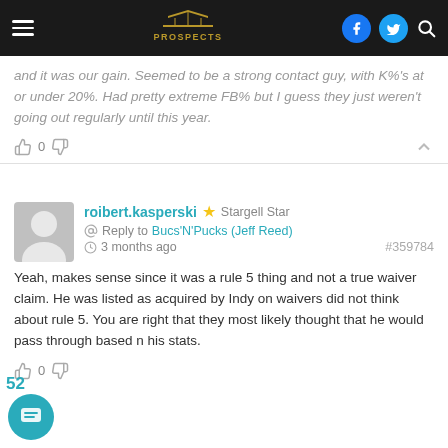PROSPECTS navigation bar
and it was our gain. Seemed to be a strong contact guy, with K%'s at or under 20%. Had pretty extreme FB% but I guess they just weren't going out regularly until this year.
0
roibert.kasperski ★ Stargell Star
Reply to Bucs'N'Pucks (Jeff Reed)
3 months ago #359784
Yeah, makes sense since it was a rule 5 thing and not a true waiver claim. He was listed as acquired by Indy on waivers did not think about rule 5. You are right that they most likely thought that he would pass through based n his stats.
0